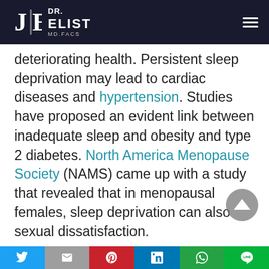Dr. Elist MD.FACS
deteriorating health. Persistent sleep deprivation may lead to cardiac diseases and hypertension. Studies have proposed an evident link between inadequate sleep and obesity and type 2 diabetes. North America Menopause Society (NAMS) came up with a study that revealed that in menopausal females, sleep deprivation can also sexual dissatisfaction.
Women’s Health Initiative (WHI) conducted a nation study based on the long-term period. The aim of the study was the prevention of wide variety
Twitter | Gmail | Pinterest | LinkedIn | WhatsApp | LINE